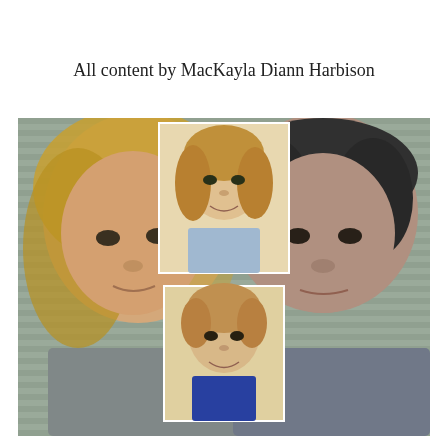All content by MacKayla Diann Harbison
[Figure (photo): Composite photo showing two adult mugshot photos side by side (a woman on the left with blonde hair, a man on the right with dark hair), with two inset childhood photos of children in the center.]